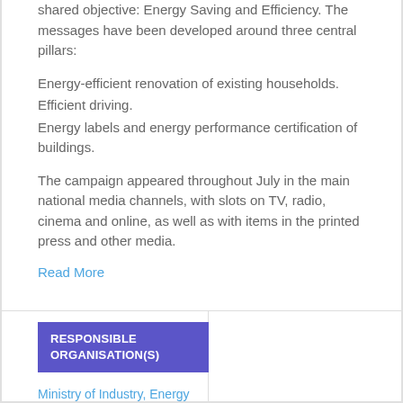shared objective: Energy Saving and Efficiency. The messages have been developed around three central pillars:
Energy-efficient renovation of existing households.
Efficient driving.
Energy labels and energy performance certification of buildings.
The campaign appeared throughout July in the main national media channels, with slots on TV, radio, cinema and online, as well as with items in the printed press and other media.
Read More
RESPONSIBLE ORGANISATION(S)
Ministry of Industry, Energy and Tourism
IDAE